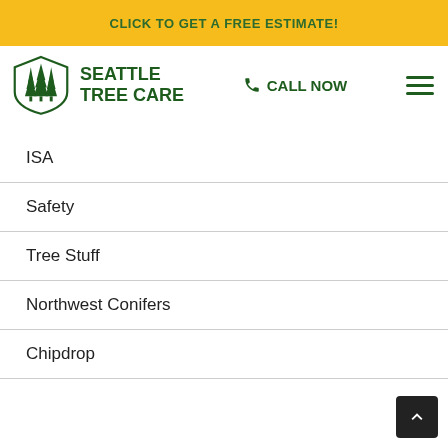CLICK TO GET A FREE ESTIMATE!
[Figure (logo): Seattle Tree Care logo with shield shape containing pine trees, and text SEATTLE TREE CARE]
CALL NOW
ISA
Safety
Tree Stuff
Northwest Conifers
Chipdrop